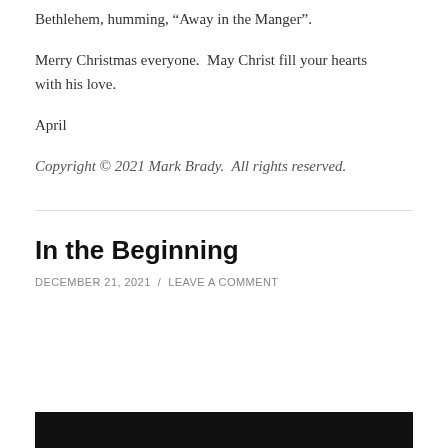Bethlehem, humming, “Away in the Manger”.
Merry Christmas everyone.  May Christ fill your hearts with his love.
April
Copyright © 2021 Mark Brady.  All rights reserved.
In the Beginning
DECEMBER 21, 2021 / LEAVE A COMMENT
[Figure (photo): Black bar at bottom of page, likely a cropped image header]